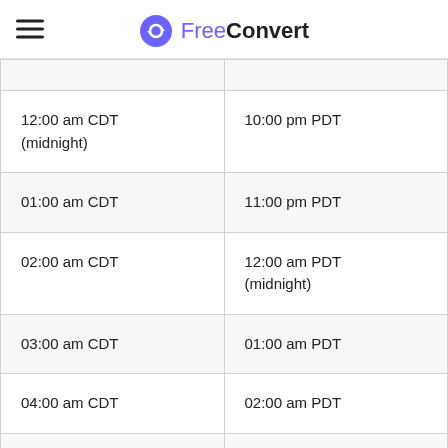FreeConvert
| CDT | PDT |
| --- | --- |
| 12:00 am CDT (midnight) | 10:00 pm PDT |
| 01:00 am CDT | 11:00 pm PDT |
| 02:00 am CDT | 12:00 am PDT (midnight) |
| 03:00 am CDT | 01:00 am PDT |
| 04:00 am CDT | 02:00 am PDT |
| 05:00 am CDT | 03:00 am PDT |
| 06:00 am CDT | 04:00 am PDT |